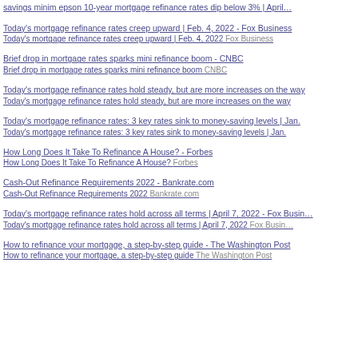Today's mortgage refinance rates creep upward | Feb. 4, 2022 - Fox Business
Today's mortgage refinance rates creep upward | Feb. 4, 2022  Fox Business
Brief drop in mortgage rates sparks mini refinance boom - CNBC
Brief drop in mortgage rates sparks mini refinance boom  CNBC
Today's mortgage refinance rates hold steady, but are more increases on the way
Today's mortgage refinance rates hold steady, but are more increases on the way
Today's mortgage refinance rates: 3 key rates sink to money-saving levels | Jan.
Today's mortgage refinance rates: 3 key rates sink to money-saving levels | Jan.
How Long Does It Take To Refinance A House? - Forbes
How Long Does It Take To Refinance A House?  Forbes
Cash-Out Refinance Requirements 2022 - Bankrate.com
Cash-Out Refinance Requirements 2022  Bankrate.com
Today's mortgage refinance rates hold across all terms | April 7, 2022 - Fox Business
Today's mortgage refinance rates hold across all terms | April 7, 2022  Fox Business
How to refinance your mortgage, a step-by-step guide - The Washington Post
How to refinance your mortgage, a step-by-step guide  The Washington Post